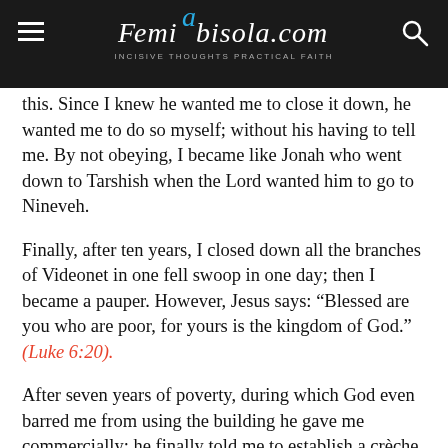Femiabisolacom — Incisive Thoughts Practical Faith
this.  Since I knew he wanted me to close it down, he wanted me to do so myself; without his having to tell me.  By not obeying, I became like Jonah who went down to Tarshish when the Lord wanted him to go to Nineveh.
Finally, after ten years, I closed down all the branches of Videonet in one fell swoop in one day; then I became a pauper.  However, Jesus says: “Blessed are you who are poor, for yours is the kingdom of God.” (Luke 6:20).
After seven years of poverty, during which God even barred me from using the building he gave me commercially; he finally told me to establish a crèche there.  There is nothing like getting a business suggestion from God.  You approach it in the confidence that it will succeed above and beyond your wildest imagination.  So I poured a lot of borrowed money into the venture.